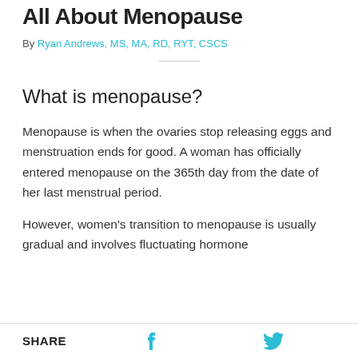All About Menopause
By Ryan Andrews, MS, MA, RD, RYT, CSCS
What is menopause?
Menopause is when the ovaries stop releasing eggs and menstruation ends for good. A woman has officially entered menopause on the 365th day from the date of her last menstrual period.
However, women's transition to menopause is usually gradual and involves fluctuating hormone
SHARE